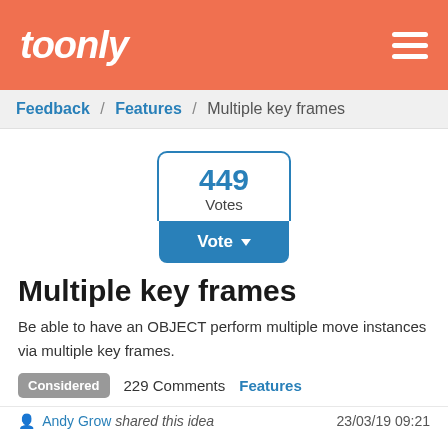toonly
Feedback / Features / Multiple key frames
[Figure (other): Vote widget showing 449 Votes with a blue Vote button below]
Multiple key frames
Be able to have an OBJECT perform multiple move instances via multiple key frames.
Considered  229 Comments  Features
Andy Grow shared this idea  23/03/19 09:21